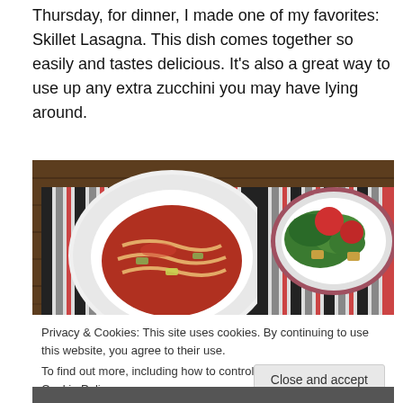Thursday, for dinner, I made one of my favorites: Skillet Lasagna. This dish comes together so easily and tastes delicious. It's also a great way to use up any extra zucchini you may have lying around.
[Figure (photo): Photo of a white plate with skillet lasagna (pasta in tomato sauce with zucchini) on a striped placemat, alongside a white bowl with a green salad topped with red tomatoes and croutons.]
Privacy & Cookies: This site uses cookies. By continuing to use this website, you agree to their use.
To find out more, including how to control cookies, see here: Cookie Policy